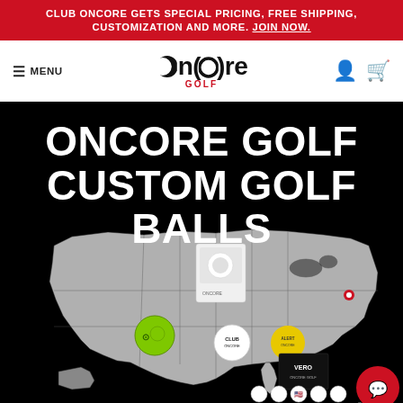CLUB ONCORE GETS SPECIAL PRICING, FREE SHIPPING, CUSTOMIZATION AND MORE. JOIN NOW.
[Figure (logo): OnCore Golf logo with crescent moon icon and red GOLF text below]
ONCORE GOLF CUSTOM GOLF BALLS
[Figure (photo): US map with custom golf balls and product boxes displayed across it, including green, white, and yellow balls with custom logos, plus box packaging for VERO balls. A red chat support button is in the bottom right corner.]